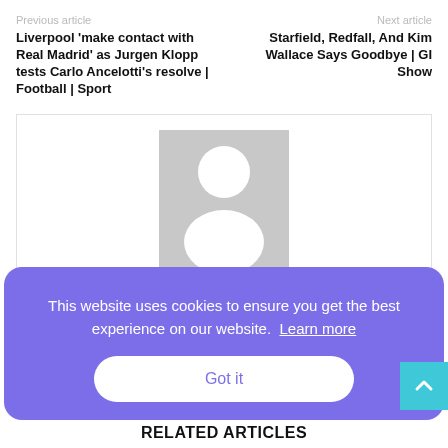Previous article
Liverpool 'make contact with Real Madrid' as Jurgen Klopp tests Carlo Ancelotti’s resolve | Football | Sport
Next article
Starfield, Redfall, And Kim Wallace Says Goodbye | GI Show
[Figure (photo): Default author avatar placeholder — grey rectangle with white silhouette of a person]
This website uses cookies to ensure you get the best experience on our website. Learn more
Got it
RELATED ARTICLES